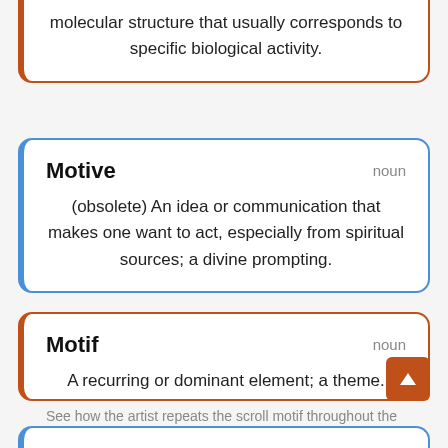molecular structure that usually corresponds to specific biological activity.
Motive
noun
(obsolete) An idea or communication that makes one want to act, especially from spiritual sources; a divine prompting.
Motif
noun
A recurring or dominant element; a theme.
See how the artist repeats the scroll motif throughout the work?